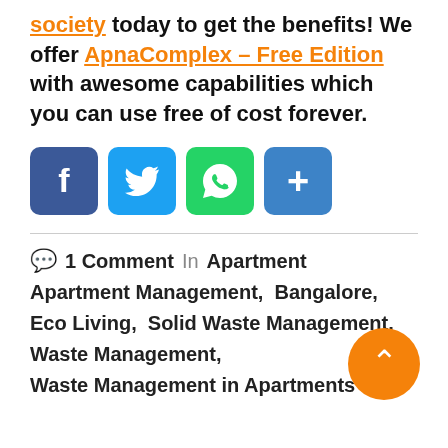society today to get the benefits! We offer ApnaComplex – Free Edition with awesome capabilities which you can use free of cost forever.
[Figure (infographic): Four social sharing buttons: Facebook (blue), Twitter (light blue), WhatsApp (green), Share/Add (blue) icons]
1 Comment  In  Apartment  Apartment Management,  Bangalore,  Eco Living,  Solid Waste Management,  Waste Management,  Waste Management in Apartments